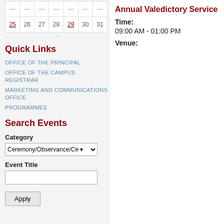[Figure (other): Partial calendar showing last row with dates 25 (red underline), 26, 27, 28, 29 (red underline), 30, 31]
Quick Links
OFFICE OF THE PRINCIPAL
OFFICE OF THE CAMPUS REGISTRAR
MARKETING AND COMMUNICATIONS OFFICE
PROGRAMMES
Search Events
Category
Ceremony/Observance/Ce
Event Title
Annual Valedictory Service
Time:
09:00 AM - 01:00 PM
Venue: